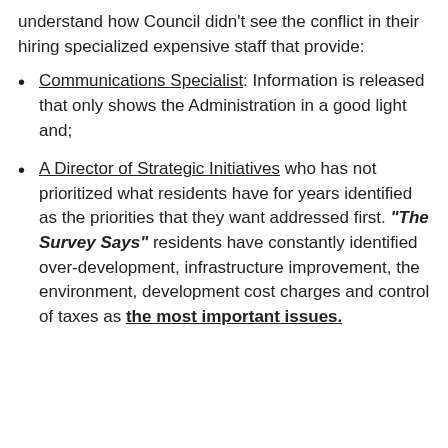understand how Council didn't see the conflict in their hiring specialized expensive staff that provide:
Communications Specialist: Information is released that only shows the Administration in a good light and;
A Director of Strategic Initiatives who has not prioritized what residents have for years identified as the priorities that they want addressed first. "The Survey Says" residents have constantly identified over-development, infrastructure improvement, the environment, development cost charges and control of taxes as the most important issues.